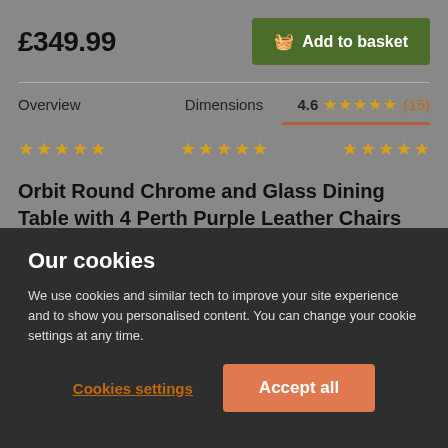£349.99
Add to basket
Overview   Dimensions   4.6 ★★★★★ (15)
[Figure (other): Three groups of five gold star ratings shown in a row]
Orbit Round Chrome and Glass Dining Table with 4 Perth Purple Leather Chairs
Our cookies
We use cookies and similar tech to improve your site experience and to show you personalised content. You can change your cookie settings at any time.
Cookies settings
Accept all